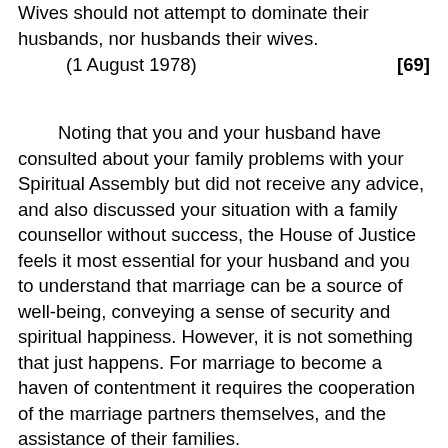Wives should not attempt to dominate their husbands, nor husbands their wives.
(1 August 1978) [69]
Noting that you and your husband have consulted about your family problems with your Spiritual Assembly but did not receive any advice, and also discussed your situation with a family counsellor without success, the House of Justice feels it most essential for your husband and you to understand that marriage can be a source of well-being, conveying a sense of security and spiritual happiness. However, it is not something that just happens. For marriage to become a haven of contentment it requires the cooperation of the marriage partners themselves, and the assistance of their families.
(24 June 1979) [70]